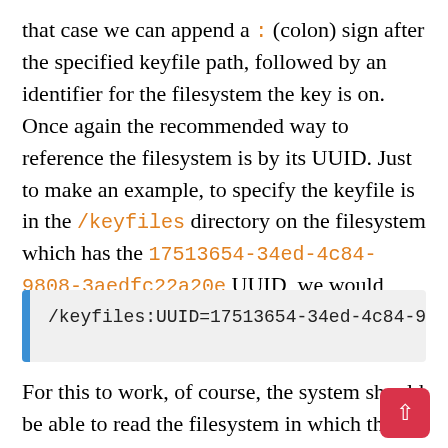that case we can append a : (colon) sign after the specified keyfile path, followed by an identifier for the filesystem the key is on. Once again the recommended way to reference the filesystem is by its UUID. Just to make an example, to specify the keyfile is in the /keyfiles directory on the filesystem which has the 17513654-34ed-4c84-9808-3aedfc22a20e UUID, we would write:
[Figure (screenshot): Code block with blue left border showing: /keyfiles:UUID=17513654-34ed-4c84-9808-3ae]
For this to work, of course, the system should be able to read the filesystem in which the key is stored. If for some reason we are using a keyfile